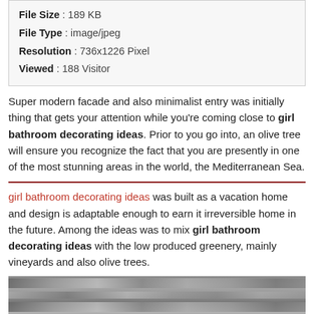| File Size | 189 KB |
| File Type | image/jpeg |
| Resolution | 736x1226 Pixel |
| Viewed | 188 Visitor |
Super modern facade and also minimalist entry was initially thing that gets your attention while you're coming close to girl bathroom decorating ideas. Prior to you go into, an olive tree will ensure you recognize the fact that you are presently in one of the most stunning areas in the world, the Mediterranean Sea.
girl bathroom decorating ideas was built as a vacation home and design is adaptable enough to earn it irreversible home in the future. Among the ideas was to mix girl bathroom decorating ideas with the low produced greenery, mainly vineyards and also olive trees.
[Figure (photo): Horizontal image strip showing landscape or outdoor scene]
Interior design is concentrated to provide maximum attention to the